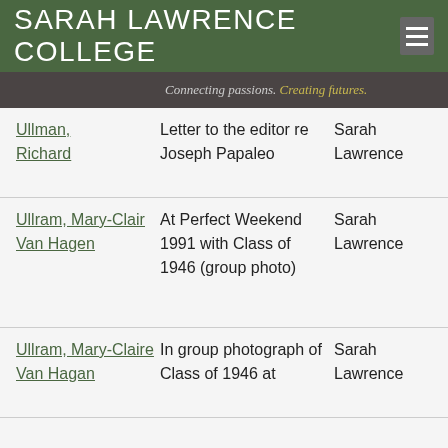SARAH LAWRENCE COLLEGE
Connecting passions. Creating futures.
| Name | Description | Source |
| --- | --- | --- |
| Ullman, Richard | Letter to the editor re Joseph Papaleo | Sarah Lawrence |
| Ullram, Mary-Clair Van Hagen | At Perfect Weekend 1991 with Class of 1946 (group photo) | Sarah Lawrence |
| Ullram, Mary-Claire Van Hagan | In group photograph of Class of 1946 at | Sarah Lawrence |